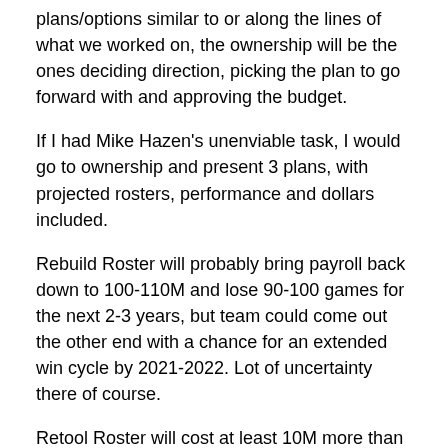plans/options similar to or along the lines of what we worked on, the ownership will be the ones deciding direction, picking the plan to go forward with and approving the budget.
If I had Mike Hazen's unenviable task, I would go to ownership and present 3 plans, with projected rosters, performance and dollars included.
Rebuild Roster will probably bring payroll back down to 100-110M and lose 90-100 games for the next 2-3 years, but team could come out the other end with a chance for an extended win cycle by 2021-2022. Lot of uncertainty there of course.
Retool Roster will cost at least 10M more than where they ended up in 2018, (So approx 150M) and they will still not project to be division winners. But they'd still